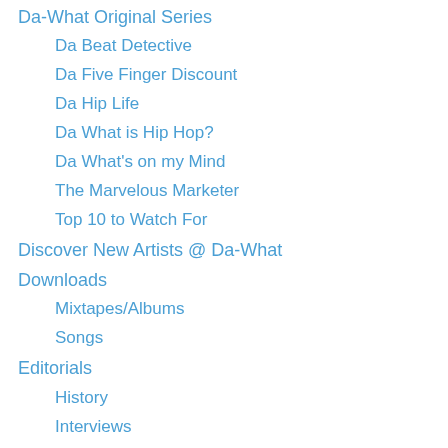Da-What Original Series
Da Beat Detective
Da Five Finger Discount
Da Hip Life
Da What is Hip Hop?
Da What's on my Mind
The Marvelous Marketer
Top 10 to Watch For
Discover New Artists @ Da-What
Downloads
Mixtapes/Albums
Songs
Editorials
History
Interviews
Lists
Reviews
Upcoming Shows – Bay Area
Hip Hop. More Than Music.
Art